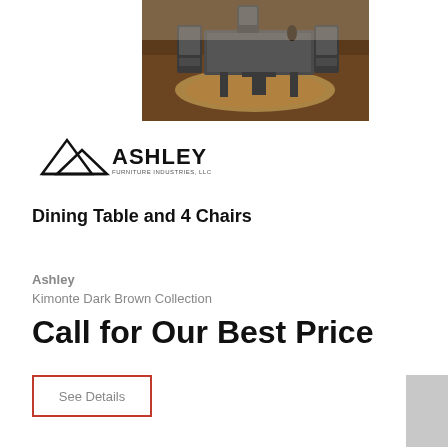[Figure (photo): Dining table and 4 chairs set with dark brown finish, placed on a patterned rug, hardwood floor background]
[Figure (logo): Ashley Furniture Industries, LLC logo with mountain/triangle graphic mark]
Dining Table and 4 Chairs
Ashley
Kimonte Dark Brown Collection
Call for Our Best Price
See Details